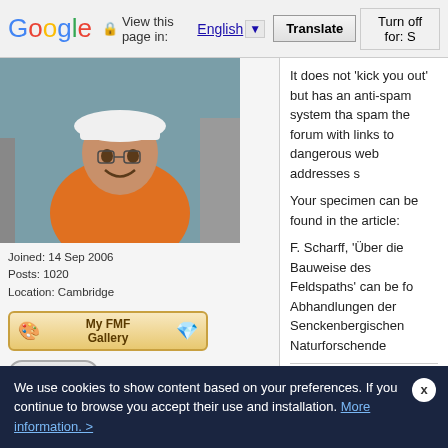Google | View this page in: English | Translate | Turn off for: S
[Figure (photo): Profile photo of a man in orange vest and white hard hat, smiling]
Joined: 14 Sep 2006
Posts: 1020
Location: Cambridge
[Figure (other): My FMF Gallery badge with icons]
[Figure (other): Profile button icon]
[Figure (other): PM button icon]
It does not 'kick you out' but has an anti-spam system tha spam the forum with links to dangerous web addresses s
Your specimen can be found in the article:
F. Scharff, 'Über die Bauweise des Feldspaths' can be fo Abhandlungen der Senckenbergischen Naturforschende
link:
https://www.digitale-sammlungen.de/en/view/bsb10479575
link to the plate (it is Fig 37):
https://www.digitale-sammlungen.de/en/view/bsb10479575
Back to top
[Figure (other): Write a REPLY button]
[Figure (other): Reply Quoting this Message button]
Posted: Jun 10, 2022 05:51   Post subject: Re: More Label Translation
Johan Kjellman
We use cookies to show content based on your preferences. If you continue to browse you accept their use and installation. More information. >